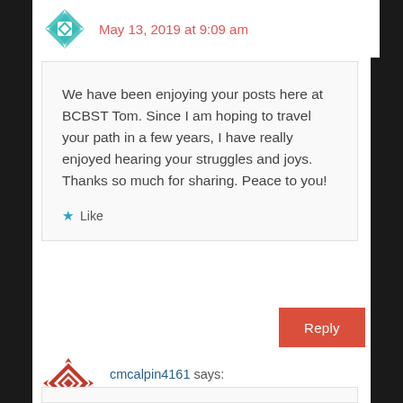May 13, 2019 at 9:09 am
We have been enjoying your posts here at BCBST Tom. Since I am hoping to travel your path in a few years, I have really enjoyed hearing your struggles and joys. Thanks so much for sharing. Peace to you!
Like
Reply
cmcalpin4161 says:
May 13, 2019 at 8:50 am